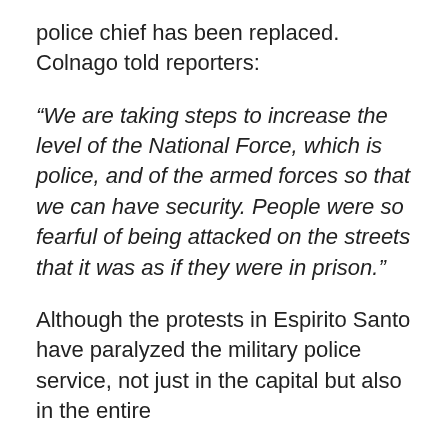police chief has been replaced. Colnago told reporters:
“We are taking steps to increase the level of the National Force, which is police, and of the armed forces so that we can have security. People were so fearful of being attacked on the streets that it was as if they were in prison.”
Although the protests in Espirito Santo have paralyzed the military police service, not just in the capital but also in the entire